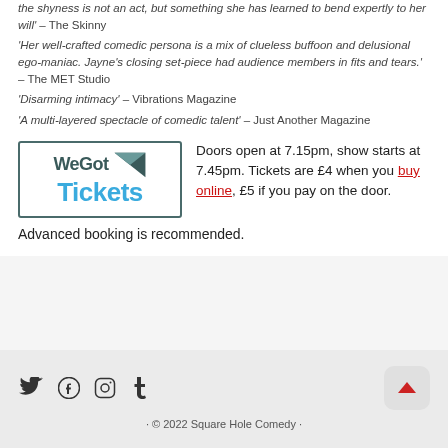the shyness is not an act, but something she has learned to bend expertly to her will' – The Skinny
'Her well-crafted comedic persona is a mix of clueless buffoon and delusional ego-maniac. Jayne's closing set-piece had audience members in fits and tears.' – The MET Studio
'Disarming intimacy' – Vibrations Magazine
'A multi-layered spectacle of comedic talent' – Just Another Magazine
[Figure (logo): WeGot Tickets logo with blue text and dark teal arrow/wing graphic]
Doors open at 7.15pm, show starts at 7.45pm. Tickets are £4 when you buy online, £5 if you pay on the door. Advanced booking is recommended.
· © 2022 Square Hole Comedy ·